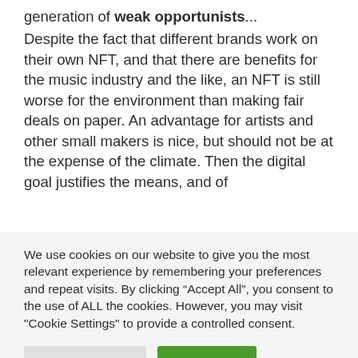generation of weak opportunists...
Despite the fact that different brands work on their own NFT, and that there are benefits for the music industry and the like, an NFT is still worse for the environment than making fair deals on paper. An advantage for artists and other small makers is nice, but should not be at the expense of the climate. Then the digital goal justifies the means, and of
We use cookies on our website to give you the most relevant experience by remembering your preferences and repeat visits. By clicking “Accept All”, you consent to the use of ALL the cookies. However, you may visit "Cookie Settings" to provide a controlled consent.
Cookie Settings | Accept All